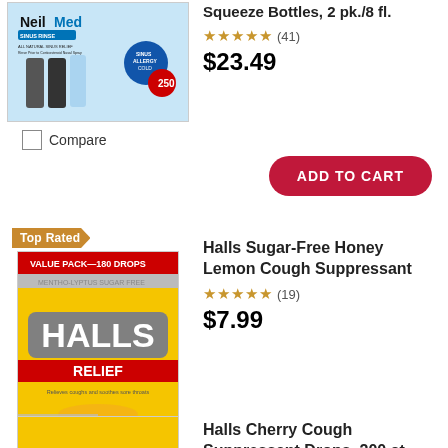Squeeze Bottles, 2 pk./8 fl.
★★★★★ (41)
$23.49
[Figure (photo): NeilMed Sinus Rinse product packaging showing bottles]
Compare
ADD TO CART
Top Rated
[Figure (photo): Halls Relief Sugar Free Honey Lemon cough drops yellow package, Value Pack 180 drops]
Halls Sugar-Free Honey Lemon Cough Suppressant
★★★★★ (19)
$7.99
Compare
ADD TO CART
Halls Cherry Cough Suppressant Drops, 200 ct.